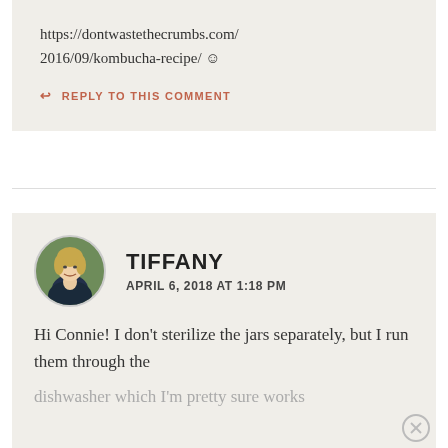https://dontwastethecrumbs.com/2016/09/kombucha-recipe/ ☺
↩ REPLY TO THIS COMMENT
TIFFANY
APRIL 6, 2018 AT 1:18 PM
Hi Connie! I don't sterilize the jars separately, but I run them through the dishwasher which I'm pretty sure works